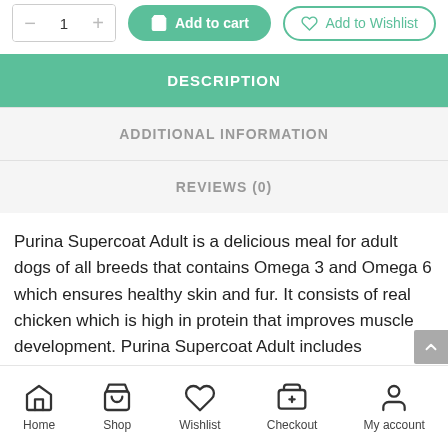[Figure (screenshot): Quantity selector with minus, 1, plus controls and Add to Cart (green pill button) and Add to Wishlist (outline pill button)]
DESCRIPTION
ADDITIONAL INFORMATION
REVIEWS (0)
Purina Supercoat Adult is a delicious meal for adult dogs of all breeds that contains Omega 3 and Omega 6 which ensures healthy skin and fur. It consists of real chicken which is high in protein that improves muscle development. Purina Supercoat Adult includes
Home  Shop  Wishlist  Checkout  My account